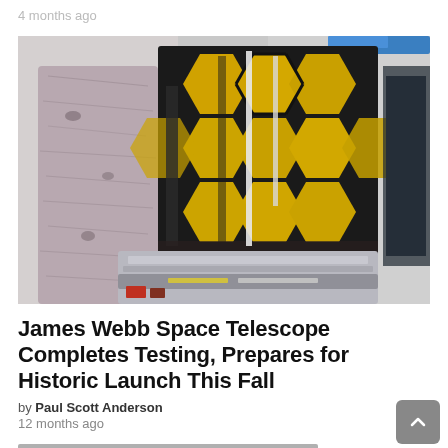4 months ago
[Figure (photo): James Webb Space Telescope with gold hexagonal mirror segments visible, folded configuration, photographed in a facility with white/gray background. A blue element is partially visible at the top right.]
James Webb Space Telescope Completes Testing, Prepares for Historic Launch This Fall
by Paul Scott Anderson
12 months ago